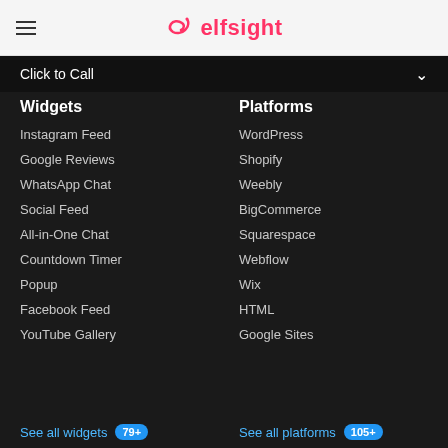elfsight
Click to Call
Widgets
Platforms
Instagram Feed
WordPress
Google Reviews
Shopify
WhatsApp Chat
Weebly
Social Feed
BigCommerce
All-in-One Chat
Squarespace
Countdown Timer
Webflow
Popup
Wix
Facebook Feed
HTML
YouTube Gallery
Google Sites
See all widgets 79+
See all platforms 105+